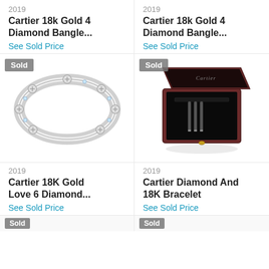2019
Cartier 18k Gold 4 Diamond Bangle...
See Sold Price
2019
Cartier 18k Gold 4 Diamond Bangle...
See Sold Price
[Figure (photo): Cartier white gold bangle bracelet with diamond accents, shown on white background with 'Sold' badge]
[Figure (photo): Open dark burgundy Cartier jewelry box with black interior and screwdriver tools, shown with 'Sold' badge]
2019
Cartier 18K Gold Love 6 Diamond...
See Sold Price
2019
Cartier Diamond And 18K Bracelet
See Sold Price